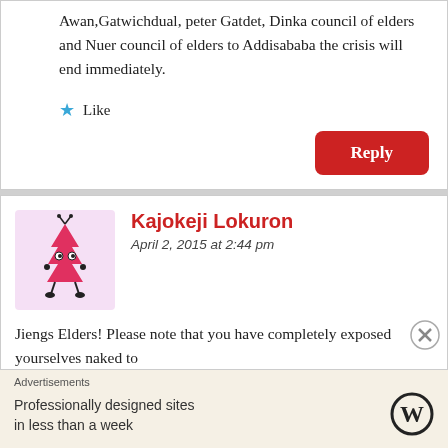Awan,Gatwichdual, peter Gatdet, Dinka council of elders and Nuer council of elders to Addisababa the crisis will end immediately.
Like
Reply
Kajokeji Lokuron
April 2, 2015 at 2:44 pm
Jiengs Elders! Please note that you have completely exposed yourselves naked to
Advertisements
Professionally designed sites in less than a week